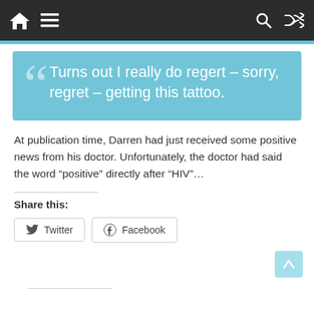Navigation bar with home, menu, search, and shuffle icons
Turns out I really do regert – sorry, regret – getting this tattoo.
At publication time, Darren had just received some positive news from his doctor. Unfortunately, the doctor had said the word “positive” directly after “HIV”…
Share this:
Twitter
Facebook